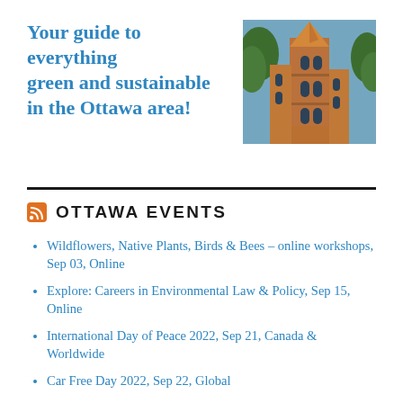Your guide to everything green and sustainable in the Ottawa area!
[Figure (photo): Photo of a Gothic church tower with brown/orange stone, illuminated against a blue sky with trees in the background]
OTTAWA EVENTS
Wildflowers, Native Plants, Birds & Bees – online workshops, Sep 03, Online
Explore: Careers in Environmental Law & Policy, Sep 15, Online
International Day of Peace 2022, Sep 21, Canada & Worldwide
Car Free Day 2022, Sep 22, Global